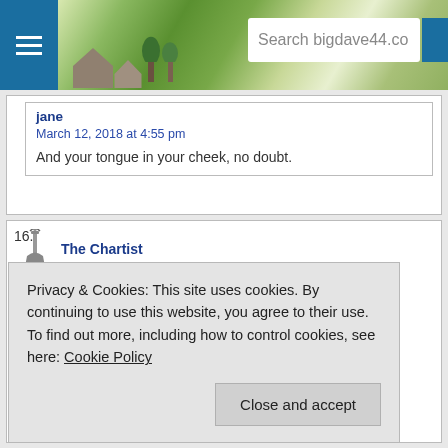Search bigdave44.co
jane
March 12, 2018 at 4:55 pm
And your tongue in your cheek, no doubt.
16. The Chartist
March 12, 2018 at 12:44 pm
Privacy & Cookies: This site uses cookies. By continuing to use this website, you agree to their use.
To find out more, including how to control cookies, see here: Cookie Policy
Close and accept